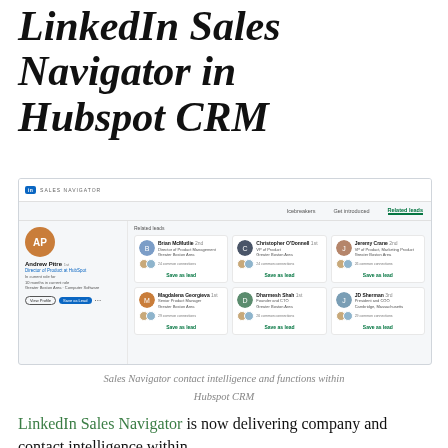LinkedIn Sales Navigator in Hubspot CRM
[Figure (screenshot): Screenshot of LinkedIn Sales Navigator interface embedded within Hubspot CRM, showing Andrew Pitre's profile on the left with View Profile and Save as Lead buttons, and a Related Leads panel on the right with 6 contact cards including Brian McHutlie, Christopher O'Donnell, Jeremy Crane, Magdalena Georgieva, Dharmesh Shah, and JD Sherman, each with Save as lead buttons.]
Sales Navigator contact intelligence and functions within Hubspot CRM
LinkedIn Sales Navigator is now delivering company and contact intelligence within